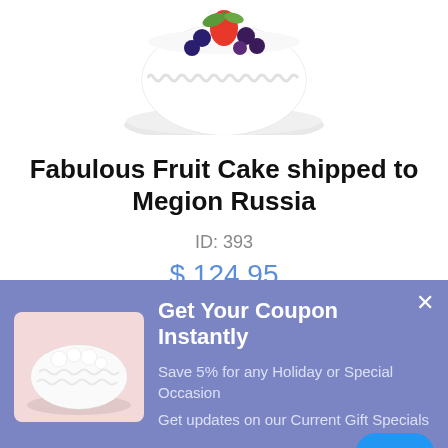[Figure (photo): Partial view of a white frosted cake with fruit toppings (strawberries, blueberries, grapes) on a white plate, cropped at top]
Fabulous Fruit Cake shipped to Megion Russia
ID: 393
$ 124.95
$ 124.95 (USD)
More Cakes to Russia
[Figure (screenshot): Coupon popup banner with blue-purple background showing a coconut cake thumbnail, coupon offer text, subscribe input, and chat button]
Get Your Coupon Instantly
Save 5% for any Holiday or Special Occasion
Get updates on our Current Gift Specials
Subscribe Now!